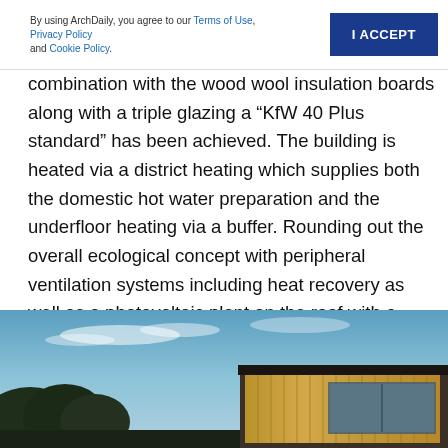By using ArchDaily, you agree to our Terms of Use, Privacy Policy and Cookie Policy.  I ACCEPT
combination with the wood wool insulation boards along with a triple glazing a “KfW 40 Plus standard” has been achieved. The building is heated via a district heating which supplies both the domestic hot water preparation and the underfloor heating via a buffer. Rounding out the overall ecological concept with peripheral ventilation systems including heat recovery as well as a photovoltaic plant on the roof with a battery stack to buffer the electricity to maximize the own consumption.
[Figure (photo): Exterior photograph of a modern building with wood cladding, large windows, and trees in the background against a blue sky. A 'Save' button overlay appears in the upper right of the image.]